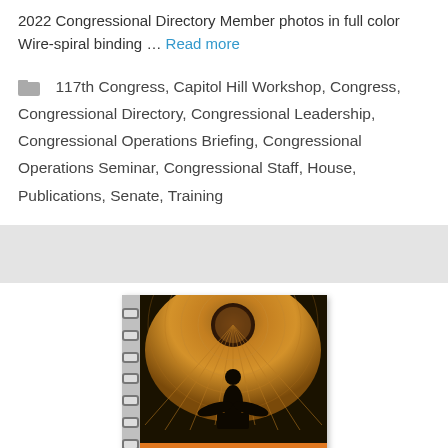2022 Congressional Directory Member photos in full color Wire-spiral binding … Read more
117th Congress, Capitol Hill Workshop, Congress, Congressional Directory, Congressional Leadership, Congressional Operations Briefing, Congressional Operations Seminar, Congressional Staff, House, Publications, Senate, Training
[Figure (photo): Book cover of Congressional Directory featuring a wire-spiral bound notebook with a Capitol dome interior rotunda photo on the cover and 'Congressional Directory' text at the bottom]